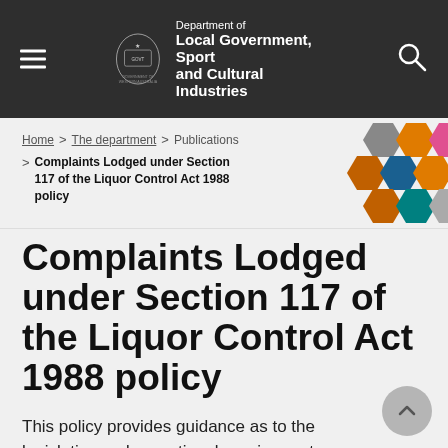Department of Local Government, Sport and Cultural Industries — Government of Western Australia
Home > The department > Publications > Complaints Lodged under Section 117 of the Liquor Control Act 1988 policy
Complaints Lodged under Section 117 of the Liquor Control Act 1988 policy
This policy provides guidance as to the legislative and operational requirements associated with complaints lodged under